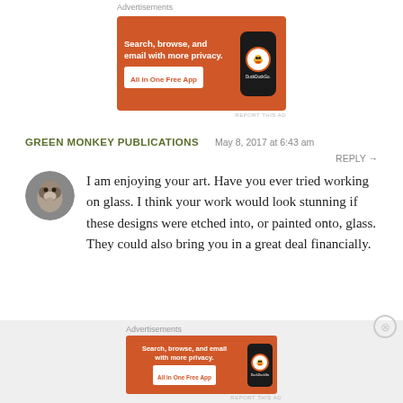Advertisements
[Figure (other): DuckDuckGo advertisement banner: orange background with text 'Search, browse, and email with more privacy. All in One Free App' and a phone graphic with DuckDuckGo logo.]
REPORT THIS AD
GREEN MONKEY PUBLICATIONS   May 8, 2017 at 6:43 am
REPLY →
[Figure (photo): Circular avatar photo of a monkey face]
I am enjoying your art. Have you ever tried working on glass. I think your work would look stunning if these designs were etched into, or painted onto, glass. They could also bring you in a great deal financially.
Advertisements
[Figure (other): DuckDuckGo advertisement banner (smaller): orange background with text 'Search, browse, and email with more privacy. All in One Free App' and a phone graphic with DuckDuckGo logo.]
REPORT THIS AD